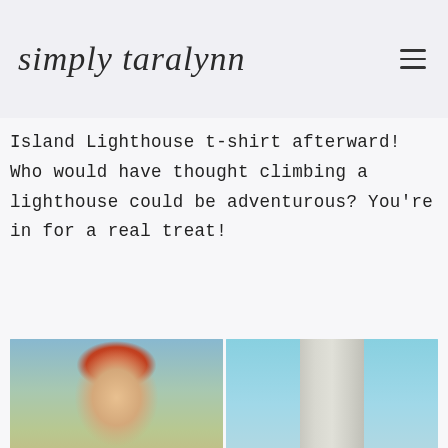simply taralynn
Island Lighthouse t-shirt afterward! Who would have thought climbing a lighthouse could be adventurous? You're in for a real treat!
[Figure (photo): Left: selfie photo of a smiling woman wearing an orange baseball cap and light blue jacket, taken from the top of a lighthouse with greenery and water visible in background. Right: upward-looking photo of a tall gray lighthouse tower against a blue sky.]
[Figure (photo): Partial bottom photos — continuation of lighthouse visit imagery, partially cropped.]